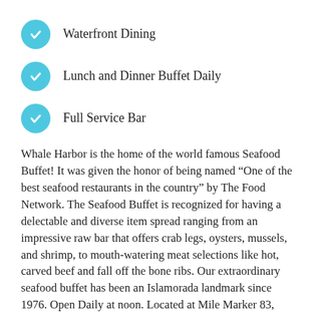Waterfront Dining
Lunch and Dinner Buffet Daily
Full Service Bar
Whale Harbor is the home of the world famous Seafood Buffet! It was given the honor of being named “One of the best seafood restaurants in the country” by The Food Network. The Seafood Buffet is recognized for having a delectable and diverse item spread ranging from an impressive raw bar that offers crab legs, oysters, mussels, and shrimp, to mouth-watering meat selections like hot, carved beef and fall off the bone ribs. Our extraordinary seafood buffet has been an Islamorada landmark since 1976. Open Daily at noon. Located at Mile Marker 83, Oceanside.
RESTAURANT WEBSITE